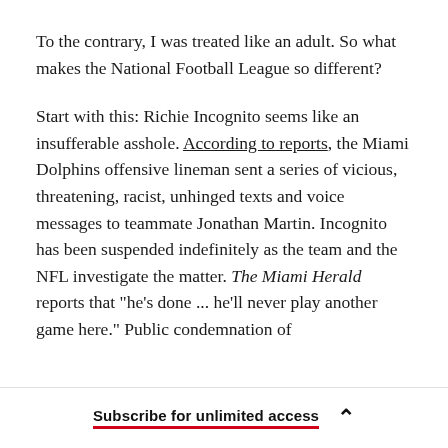To the contrary, I was treated like an adult. So what makes the National Football League so different?
Start with this: Richie Incognito seems like an insufferable asshole. According to reports, the Miami Dolphins offensive lineman sent a series of vicious, threatening, racist, unhinged texts and voice messages to teammate Jonathan Martin. Incognito has been suspended indefinitely as the team and the NFL investigate the matter. The Miami Herald reports that "he's done ... he'll never play another game here." Public condemnation of
Subscribe for unlimited access